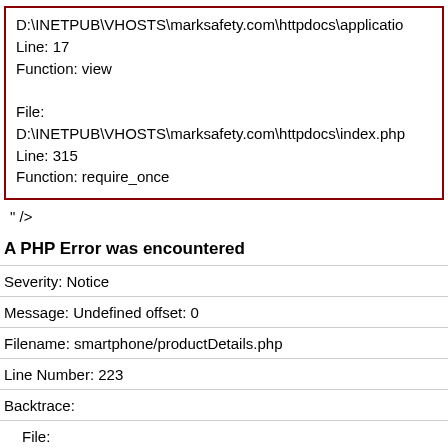D:\INETPUB\VHOSTS\marksafety.com\httpdocs\application\
Line: 17
Function: view

File:
D:\INETPUB\VHOSTS\marksafety.com\httpdocs\index.php
Line: 315
Function: require_once
" />
A PHP Error was encountered
Severity: Notice
Message: Undefined offset: 0
Filename: smartphone/productDetails.php
Line Number: 223
Backtrace:
File:
D:\INETPUB\VHOSTS\marksafety.com\httpdocs\application\vi